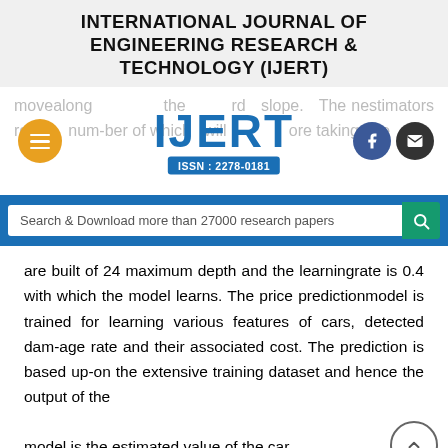INTERNATIONAL JOURNAL OF ENGINEERING RESEARCH & TECHNOLOGY (IJERT)
[Figure (logo): IJERT logo with ISSN: 2278-0181, flanked by hamburger menu icon (orange), Facebook icon (blue), and email icon (dark). Background shows faded text about estimators and slope.]
[Figure (screenshot): Search bar reading 'Search & Download more than 27000 research papers' on blue background with teal search button]
are built of 24 maximum depth and the learningrate is 0.4 with which the model learns. The price predictionmodel is trained for learning various features of cars, detected dam-age rate and their associated cost. The prediction is based up-on the extensive training dataset and hence the output of the model is the estimated value of the car.